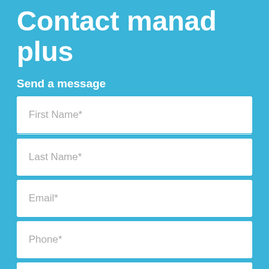Contact manad plus
Send a message
First Name*
Last Name*
Email*
Phone*
Organisation name*